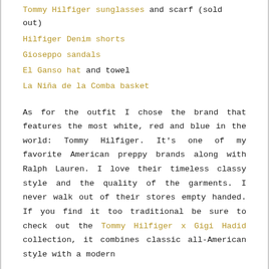Tommy Hilfiger sunglasses and scarf (sold out)
Hilfiger Denim shorts
Gioseppo sandals
El Ganso hat and towel
La Niña de la Comba basket
As for the outfit I chose the brand that features the most white, red and blue in the world: Tommy Hilfiger. It's one of my favorite American preppy brands along with Ralph Lauren. I love their timeless classy style and the quality of the garments. I never walk out of their stores empty handed. If you find it too traditional be sure to check out the Tommy Hilfiger x Gigi Hadid collection, it combines classic all-American style with a modern